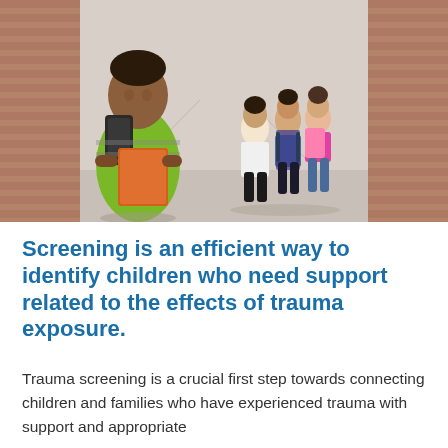[Figure (photo): A young boy with a backpack and orange folder standing alone in a school hallway while other children talk in the background, suggesting social isolation or bullying scenario.]
Screening is an efficient way to identify children who need support related to the effects of trauma exposure.
Trauma screening is a crucial first step towards connecting children and families who have experienced trauma with support and appropriate